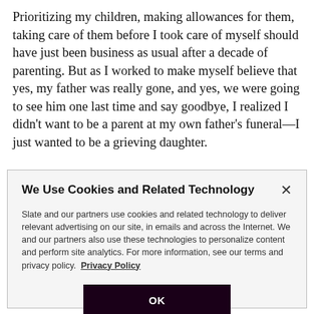Prioritizing my children, making allowances for them, taking care of them before I took care of myself should have just been business as usual after a decade of parenting. But as I worked to make myself believe that yes, my father was really gone, and yes, we were going to see him one last time and say goodbye, I realized I didn't want to be a parent at my own father's funeral—I just wanted to be a grieving daughter.
We Use Cookies and Related Technology
Slate and our partners use cookies and related technology to deliver relevant advertising on our site, in emails and across the Internet. We and our partners also use these technologies to personalize content and perform site analytics. For more information, see our terms and privacy policy.  Privacy Policy
OK